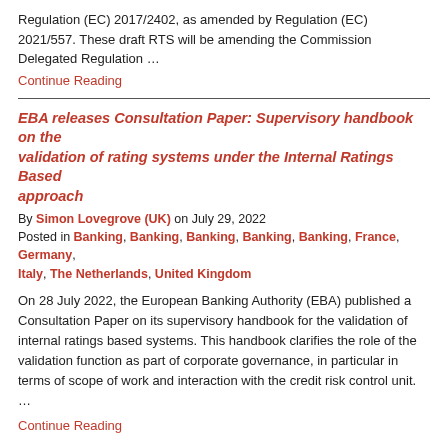Regulation (EC) 2017/2402, as amended by Regulation (EC) 2021/557. These draft RTS will be amending the Commission Delegated Regulation …
Continue Reading
EBA releases Consultation Paper: Supervisory handbook on the validation of rating systems under the Internal Ratings Based approach
By Simon Lovegrove (UK) on July 29, 2022
Posted in Banking, Banking, Banking, Banking, Banking, France, Germany, Italy, The Netherlands, United Kingdom
On 28 July 2022, the European Banking Authority (EBA) published a Consultation Paper on its supervisory handbook for the validation of internal ratings based systems. This handbook clarifies the role of the validation function as part of corporate governance, in particular in terms of scope of work and interaction with the credit risk control unit. …
Continue Reading